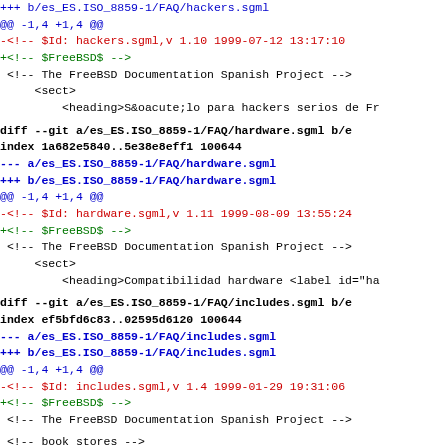+++ b/es_ES.ISO_8859-1/FAQ/hackers.sgml
@@ -1,4 +1,4 @@
-<!-- $Id: hackers.sgml,v 1.10 1999-07-12 13:17:10
+<!-- $FreeBSD$ -->
<!-- The FreeBSD Documentation Spanish Project -->
<sect>
<heading>S&oacute;lo para hackers serios de Fr
diff --git a/es_ES.ISO_8859-1/FAQ/hardware.sgml b/e
index 1a682e5840..5e38e8eff1 100644
--- a/es_ES.ISO_8859-1/FAQ/hardware.sgml
+++ b/es_ES.ISO_8859-1/FAQ/hardware.sgml
@@ -1,4 +1,4 @@
-<!-- $Id: hardware.sgml,v 1.11 1999-08-09 13:55:24
+<!-- $FreeBSD$ -->
<!-- The FreeBSD Documentation Spanish Project -->
<sect>
<heading>Compatibilidad hardware <label id="ha
diff --git a/es_ES.ISO_8859-1/FAQ/includes.sgml b/e
index ef5bfd6c83..02595d6120 100644
--- a/es_ES.ISO_8859-1/FAQ/includes.sgml
+++ b/es_ES.ISO_8859-1/FAQ/includes.sgml
@@ -1,4 +1,4 @@
-<!-- $Id: includes.sgml,v 1.4 1999-01-29 19:31:06
+<!-- $FreeBSD$ -->
<!-- The FreeBSD Documentation Spanish Project -->
<!-- book stores -->
diff --git a/es_ES.ISO_8859-1/FAQ/install.sgml b/es